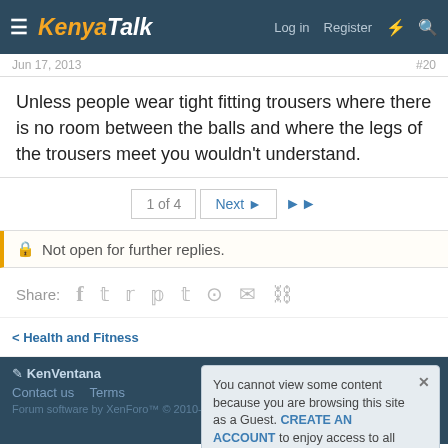KenyaTalk — Log in   Register
Jun 17, 2013   #20
Unless people wear tight fitting trousers where there is no room between the balls and where the legs of the trousers meet you wouldn't understand.
1 of 4   Next ▶   ▶▶
🔒 Not open for further replies.
Share: f  t  reddit  pinterest  tumblr  whatsapp  email  link
< Health and Fitness
✏ KenVentana
Contact us   Terms
Forum software by XenForo™ © 2010-2018 XenForo Ltd.
You cannot view some content because you are browsing this site as a Guest. CREATE AN ACCOUNT to enjoy access to all content.